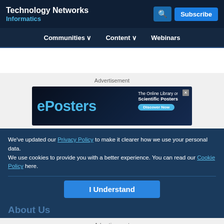Technology Networks Informatics
[Figure (screenshot): Advertisement banner for ePosters - The Online Library of Scientific Posters, with Discover Now button]
Advertisement
We've updated our Privacy Policy to make it clearer how we use your personal data.
We use cookies to provide you with a better experience. You can read our Cookie Policy here.
I Understand
About Us
Advertisement
[Figure (screenshot): Advertisement banner for ARQ - Process, review, and release qPCR & rtPCR results by indigo BioAutomation]